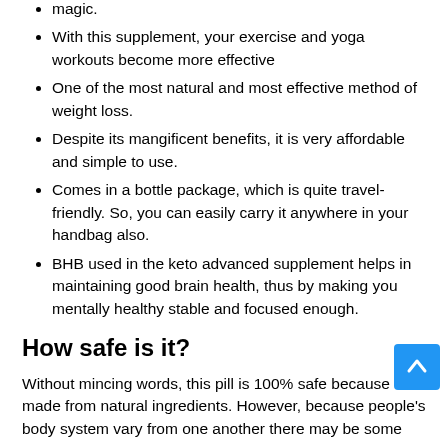magic.
With this supplement, your exercise and yoga workouts become more effective
One of the most natural and most effective method of weight loss.
Despite its mangificent benefits, it is very affordable and simple to use.
Comes in a bottle package, which is quite travel-friendly. So, you can easily carry it anywhere in your handbag also.
BHB used in the keto advanced supplement helps in maintaining good brain health, thus by making you mentally healthy stable and focused enough.
How safe is it?
Without mincing words, this pill is 100% safe because it is made from natural ingredients. However, because people's body system vary from one another there may be some